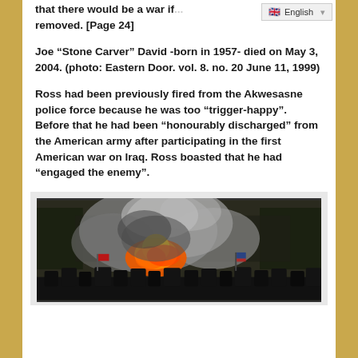that there would be a war if... removed. [Page 24]
English
Joe “Stone Carver” David -born in 1957- died on May 3, 2004. (photo: Eastern Door. vol. 8. no. 20 June 11, 1999)
Ross had been previously fired from the Akwesasne police force because he was too “trigger-happy”. Before that he had been “honourably discharged” from the American army after participating in the first American war on Iraq. Ross boasted that he had “engaged the enemy”.
[Figure (photo): Crowd scene with fire and smoke, people gathered outdoors with flames and heavy smoke visible in the background, flags visible in the crowd.]